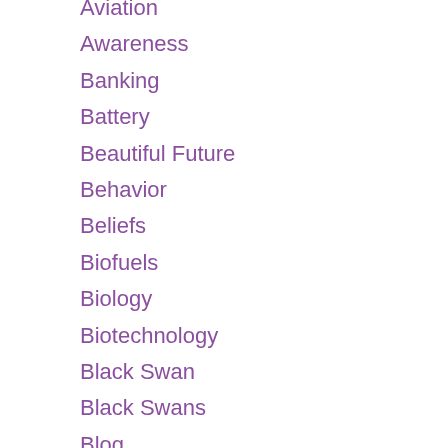Aviation
Awareness
Banking
Battery
Beautiful Future
Behavior
Beliefs
Biofuels
Biology
Biotechnology
Black Swan
Black Swans
Blog
Books
Buildings Trade
Business